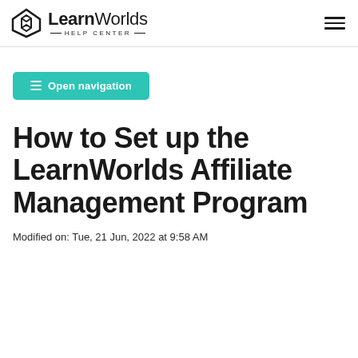LearnWorlds HELP CENTER
Open navigation
How to Set up the LearnWorlds Affiliate Management Program
Modified on: Tue, 21 Jun, 2022 at 9:58 AM